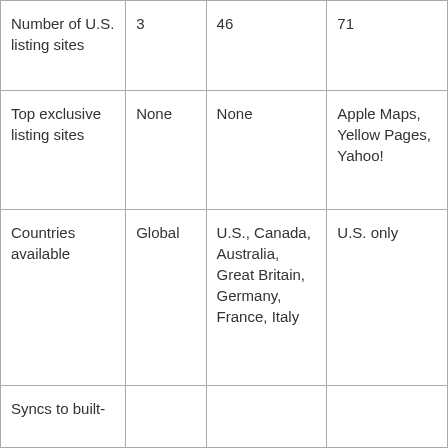| Number of U.S. listing sites | 3 | 46 | 71 |
| Top exclusive listing sites | None | None | Apple Maps, Yellow Pages, Yahoo! |
| Countries available | Global | U.S., Canada, Australia, Great Britain, Germany, France, Italy | U.S. only |
| Syncs to built- |  |  |  |